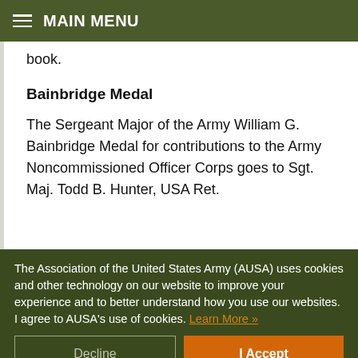MAIN MENU
book.
Bainbridge Medal
The Sergeant Major of the Army William G. Bainbridge Medal for contributions to the Army Noncommissioned Officer Corps goes to Sgt. Maj. Todd B. Hunter, USA Ret.
The Association of the United States Army (AUSA) uses cookies and other technology on our website to improve your experience and to better understand how you use our websites. I agree to AUSA's use of cookies. Learn More »